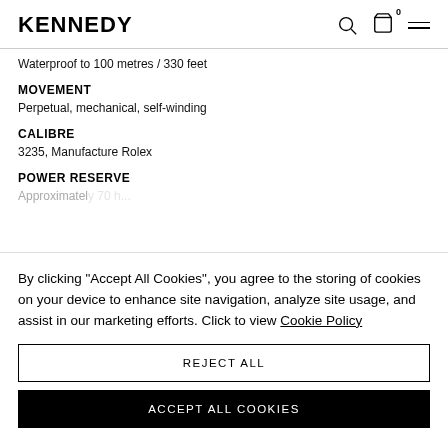KENNEDY
Waterproof to 100 metres / 330 feet
MOVEMENT
Perpetual, mechanical, self-winding
CALIBRE
3235, Manufacture Rolex
POWER RESERVE
By clicking "Accept All Cookies", you agree to the storing of cookies on your device to enhance site navigation, analyze site usage, and assist in our marketing efforts. Click to view Cookie Policy
REJECT ALL
ACCEPT ALL COOKIES